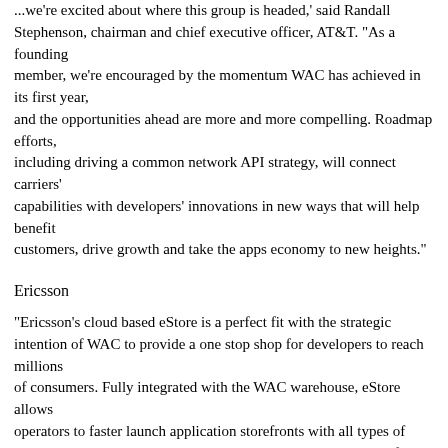...we're excited about where this group is headed,' said Randall Stephenson, chairman and chief executive officer, AT&T. "As a founding member, we're encouraged by the momentum WAC has achieved in its first year, and the opportunities ahead are more and more compelling. Roadmap efforts, including driving a common network API strategy, will connect carriers' capabilities with developers' innovations in new ways that will help benefit customers, drive growth and take the apps economy to new heights."
Ericsson
"Ericsson's cloud based eStore is a perfect fit with the strategic intention of WAC to provide a one stop shop for developers to reach millions of consumers. Fully integrated with the WAC warehouse, eStore allows operators to faster launch application storefronts with all types of applications and content," commented Jan Wareby, SVP head of Sales & Marketing at Ericsson and also member of the WAC board.